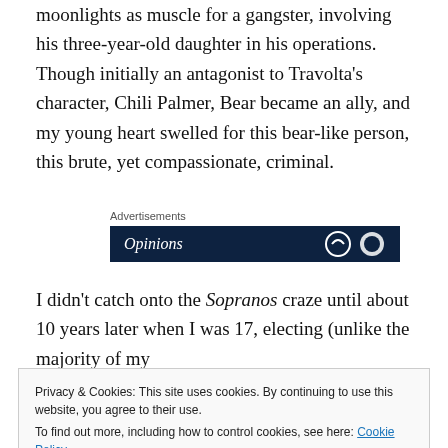moonlights as muscle for a gangster, involving his three-year-old daughter in his operations. Though initially an antagonist to Travolta's character, Chili Palmer, Bear became an ally, and my young heart swelled for this bear-like person, this brute, yet compassionate, criminal.
[Figure (screenshot): Advertisement banner with dark navy background showing 'Opinions' text in white italic font]
I didn't catch onto the Sopranos craze until about 10 years later when I was 17, electing (unlike the majority of my
Privacy & Cookies: This site uses cookies. By continuing to use this website, you agree to their use. To find out more, including how to control cookies, see here: Cookie Policy
falcon cannot hear the falconer" (from The Second